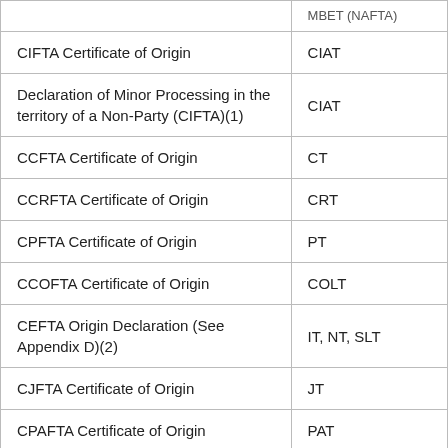|  |  |
| --- | --- |
|  | MBET (NAFTA) |
| CIFTA Certificate of Origin | CIAT |
| Declaration of Minor Processing in the territory of a Non-Party (CIFTA)(1) | CIAT |
| CCFTA Certificate of Origin | CT |
| CCRFTA Certificate of Origin | CRT |
| CPFTA Certificate of Origin | PT |
| CCOFTA Certificate of Origin | COLT |
| CEFTA Origin Declaration (See Appendix D)(2) | IT, NT, SLT |
| CJFTA Certificate of Origin | JT |
| CPAFTA Certificate of Origin | PAT |